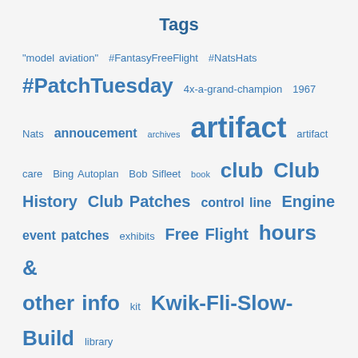Tags
"model aviation" #FantasyFreeFlight #NatsHats #PatchTuesday 4x-a-grand-champion 1967 Nats annoucement archives artifact artifact care Bing Autoplan Bob Sifleet book club Club History Club Patches control line Engine event patches exhibits Free Flight hours & other info kit Kwik-Fli-Slow-Build library model airplane museum NATS nats summer 2018 new addition old magazines old photographs patches old short Preservation week